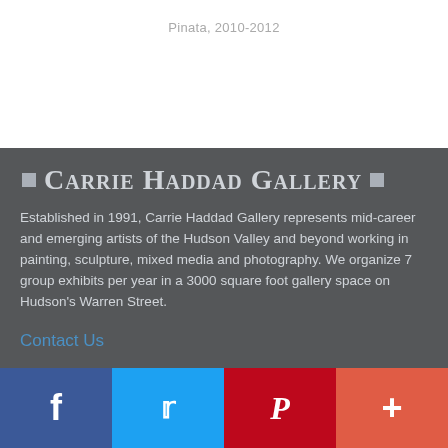Pinata, 2010-2012
Carrie Haddad Gallery
Established in 1991, Carrie Haddad Gallery represents mid-career and emerging artists of the Hudson Valley and beyond working in painting, sculpture, mixed media and photography. We organize 7 group exhibits per year in a 3000 square foot gallery space on Hudson's Warren Street.
Contact Us